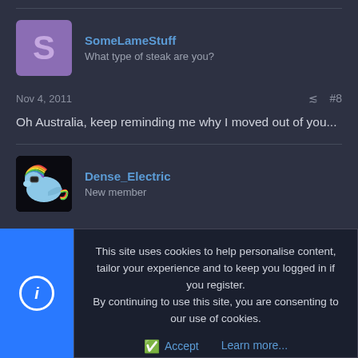[Figure (screenshot): Forum post by SomeLameStuff with purple avatar showing letter S]
SomeLameStuff
What type of steak are you?
Nov 4, 2011
#8
Oh Australia, keep reminding me why I moved out of you...
[Figure (screenshot): Forum post by Dense_Electric with rainbow pony avatar]
Dense_Electric
New member
This site uses cookies to help personalise content, tailor your experience and to keep you logged in if you register. By continuing to use this site, you are consenting to our use of cookies.
Accept
Learn more...